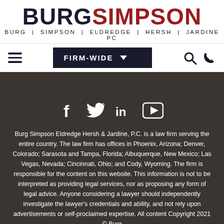[Figure (logo): Burg Simpson law firm logo with BURG in dark navy and SIMPSON in dark red, bold large font, subtitle: BURG | SIMPSON | ELDREDGE | HERSH | JARDINE PC]
[Figure (screenshot): Navigation bar with hamburger menu on left, FIRM-WIDE dropdown button in center, search and phone icons on right]
[Figure (infographic): Social media icons: Facebook (f), Twitter (bird), LinkedIn (in), YouTube (play button) displayed in white on dark brown background]
Burg Simpson Eldredge Hersh & Jardine, P.C. is a law firm serving the entire country. The law firm has offices in Phoenix, Arizona; Denver, Colorado; Sarasota and Tampa, Florida; Albuquerque, New Mexico; Las Vegas, Nevada; Cincinnati, Ohio; and Cody, Wyoming. The firm is responsible for the content on this website. This information is not to be interpreted as providing legal services, nor as proposing any form of legal advice. Anyone considering a lawyer should independently investigate the lawyer's credentials and ability, and not rely upon advertisements or self-proclaimed expertise. All content Copyright 2021 © Burg